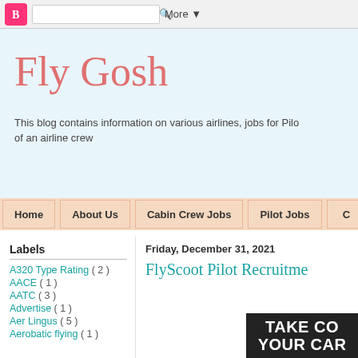Blogger toolbar with search and More button
Fly Gosh
This blog contains information on various airlines, jobs for Pilots, and life of an airline crew
Home
About Us
Cabin Crew Jobs
Pilot Jobs
Labels
A320 Type Rating ( 2 )
AACE ( 1 )
AATC ( 3 )
Advertise ( 1 )
Aer Lingus ( 5 )
Aerobatic flying ( 1 )
Friday, December 31, 2021
FlyScoot Pilot Recruitment
[Figure (photo): Partial image with text TAKE CO... YOUR CAR...]